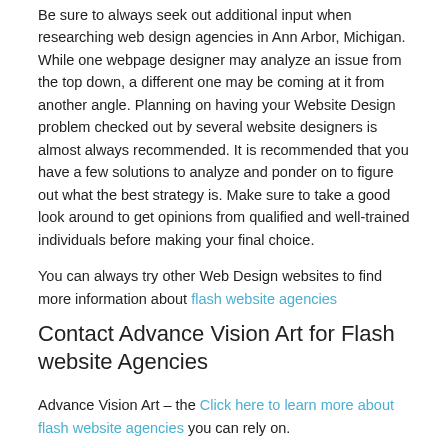Be sure to always seek out additional input when researching web design agencies in Ann Arbor, Michigan. While one webpage designer may analyze an issue from the top down, a different one may be coming at it from another angle. Planning on having your Website Design problem checked out by several website designers is almost always recommended. It is recommended that you have a few solutions to analyze and ponder on to figure out what the best strategy is. Make sure to take a good look around to get opinions from qualified and well-trained individuals before making your final choice.
You can always try other Web Design websites to find more information about flash website agencies
Contact Advance Vision Art for Flash website Agencies
Advance Vision Art – the Click here to learn more about flash website agencies you can rely on.
Ensure that the website designer has